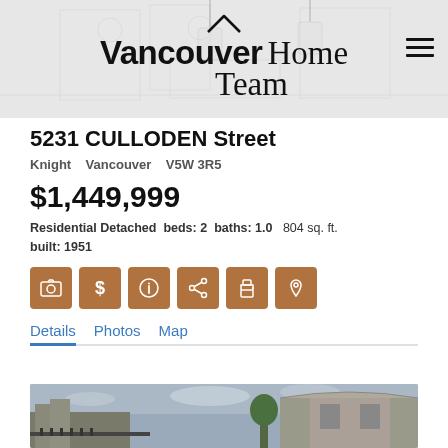Vancouver Home Team
5231 CULLODEN Street
Knight   Vancouver   V5W 3R5
$1,449,999
Residential Detached  beds: 2  baths: 1.0  804 sq. ft.  built: 1951
Details  Photos  Map
[Figure (photo): Exterior photo of residential property at 5231 Culloden Street]